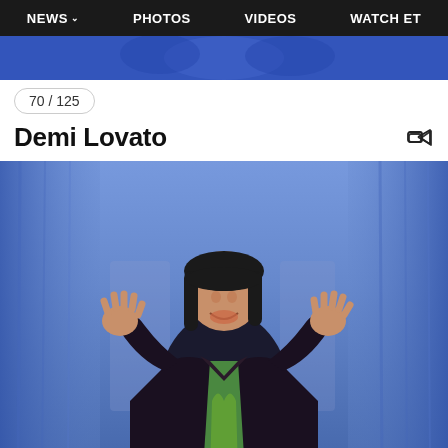NEWS  PHOTOS  VIDEOS  WATCH ET
[Figure (photo): Partial top image strip showing performers in blue costumes on a stage]
70 / 125
Demi Lovato
[Figure (photo): Demi Lovato standing on a stage with blue curtain backdrop, wearing a black sequin jacket over a green flame-print dress, smiling with hands raised]